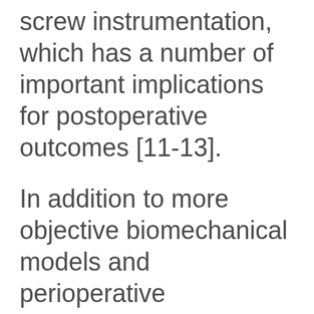screw instrumentation, which has a number of important implications for postoperative outcomes [11-13].
In addition to more objective biomechanical models and perioperative measurements, surgeons may turn to Patient-